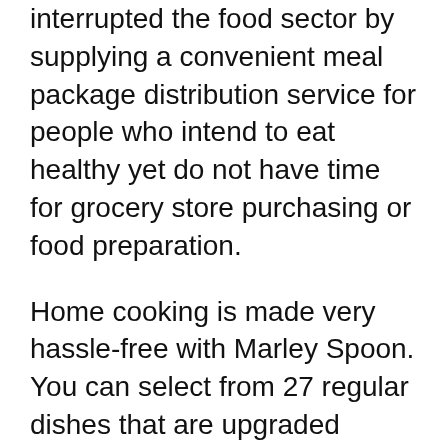interrupted the food sector by supplying a convenient meal package distribution service for people who intend to eat healthy yet do not have time for grocery store purchasing or food preparation.
Home cooking is made very hassle-free with Marley Spoon. You can select from 27 regular dishes that are upgraded weekly, provided with preportioned ingredients in dish packages right to your door.
Their selections of meal recipes consist of vegetarian, vegan, family-friendly, gluten-free, dairy-free, and low carbohydrate choices. Their 6-step dish cards are chef-inspired and also easy to comply with. With flexible registration you can miss, pause or